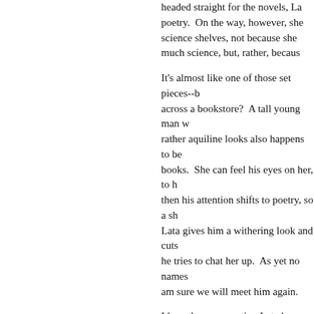headed straight for the novels, La poetry.  On the way, however, she science shelves, not because she much science, but, rather, becaus
It's almost like one of those set pieces--b across a bookstore?  A tall young man w rather aquiline looks also happens to be books.  She can feel his eyes on her, to h then his attention shifts to poetry, so a sh Lata gives him a withering look and cuts he tries to chat her up.  As yet no names am sure we will meet him again.
I love the conversation Lata has with her course Malati wonders who he is and rem looks, despairing of her friend's utter dism gently castigates her friend and says, "S came up and started talking nonsense . . boiled potatoes."  I really need to remem great?  And if you clicked on the link to th aren't they beautiful?  If I ever had a reas would, but I suspect I won't so will admire
Onwards to part two, which is already t